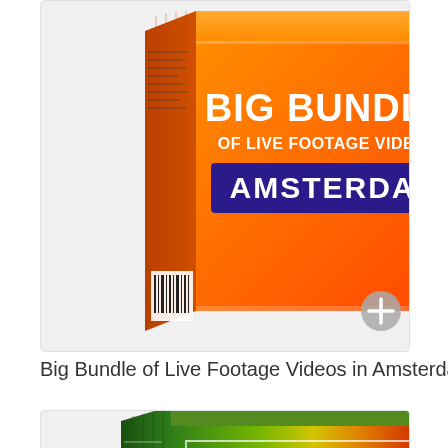[Figure (photo): Product box: Big Bundle of Live Footage Videos - Amsterdam edition, orange box with orange/red gradient design]
Big Bundle of Live Footage Videos in Amsterdam
[Figure (photo): Product box: Big Bundle of Live Footage Videos, green/yellow/orange/red gradient striped box design]